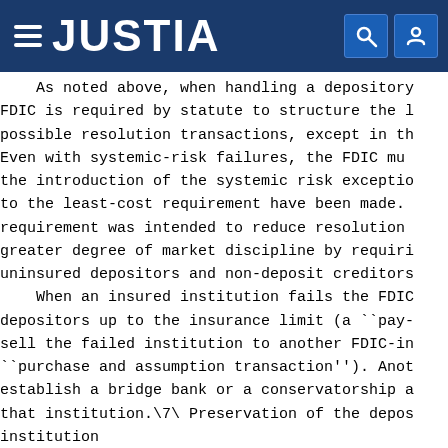JUSTIA
As noted above, when handling a depository FDIC is required by statute to structure the l possible resolution transactions, except in th Even with systemic-risk failures, the FDIC mu the introduction of the systemic risk exceptio to the least-cost requirement have been made. requirement was intended to reduce resolution greater degree of market discipline by requiri uninsured depositors and non-deposit creditors When an insured institution fails the FDIC depositors up to the insurance limit (a ``pay- sell the failed institution to another FDIC-in ``purchase and assumption transaction''). Anot establish a bridge bank or a conservatorship a that institution.\7\ Preservation of the depos institution